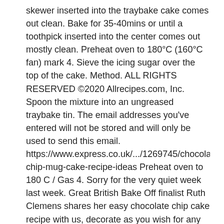skewer inserted into the traybake cake comes out clean. Bake for 35-40mins or until a toothpick inserted into the center comes out mostly clean. Preheat oven to 180°C (160°C fan) mark 4. Sieve the icing sugar over the top of the cake. Method. ALL RIGHTS RESERVED ©2020 Allrecipes.com, Inc. Spoon the mixture into an ungreased traybake tin. The email addresses you've entered will not be stored and will only be used to send this email. https://www.express.co.uk/.../1269745/chocolate-chip-mug-cake-recipe-ideas Preheat oven to 180 C / Gas 4. Sorry for the very quiet week last week. Great British Bake Off finalist Ruth Clemens shares her easy chocolate chip cake recipe with us, decorate as you wish for any occasion. Oil the base and sides of a 33 x 23cm roasting tin that's at least 2.5cm deep. Comments. Preheat oven to 170°C (150°C fan) mark 3. Ingredients. Whisk the eggs until it is frothy and gradually incorporated in to the butter and sugar mixture. Pour in the cake mixture and